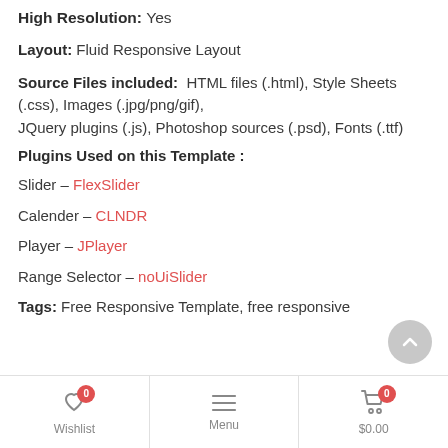High Resolution: Yes
Layout: Fluid Responsive Layout
Source Files included: HTML files (.html), Style Sheets (.css), Images (.jpg/png/gif), JQuery plugins (.js), Photoshop sources (.psd), Fonts (.ttf)
Plugins Used on this Template :
Slider – FlexSlider
Calender – CLNDR
Player – JPlayer
Range Selector – noUiSlider
Tags: Free Responsive Template, free responsive
Wishlist 0  Menu  $0.00 0